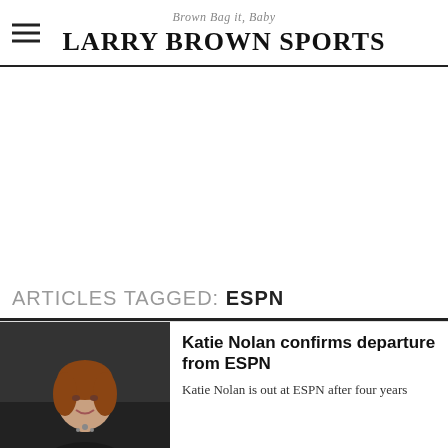Brown Bag it, Baby — LARRY BROWN SPORTS
[Figure (other): Advertisement placeholder area (blank white space)]
ARTICLES TAGGED: ESPN
[Figure (photo): Photo of Katie Nolan, a woman with brown hair, smiling, in a dark jacket]
Katie Nolan confirms departure from ESPN
Katie Nolan is out at ESPN after four years